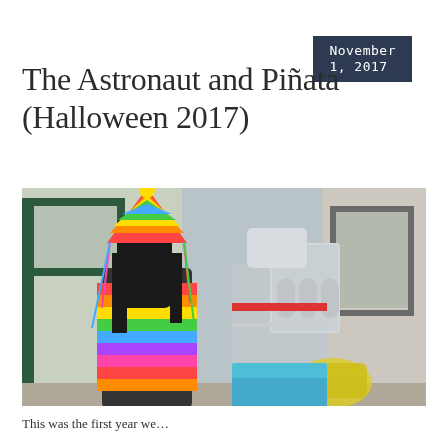November 1, 2017
The Astronaut and Piñata (Halloween 2017)
[Figure (photo): Two children in Halloween costumes viewed from behind. One child wears a colorful piñata costume with rainbow fringe and a multicolored pointed hat with pom-pom. The other child wears a silver astronaut costume with a silver backpack/jetpack made of foil, holding a yellow bag. They stand in front of a building with green-framed windows.]
This was the first year we...